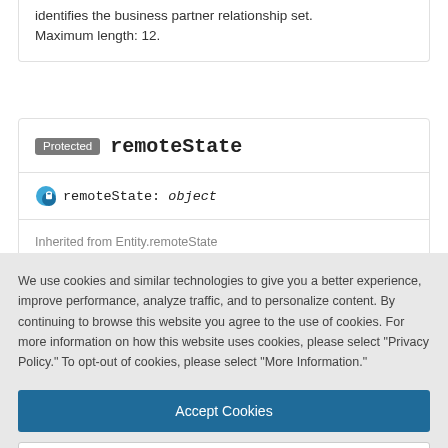identifies the business partner relationship set. Maximum length: 12.
Protected remoteState
remoteState: object
Inherited from Entity.remoteState
Defined in core/dist/entity.d.ts:25
We use cookies and similar technologies to give you a better experience, improve performance, analyze traffic, and to personalize content. By continuing to browse this website you agree to the use of cookies. For more information on how this website uses cookies, please select "Privacy Policy." To opt-out of cookies, please select "More Information."
Accept Cookies
More Information
Privacy Policy | Powered by: TrustArc